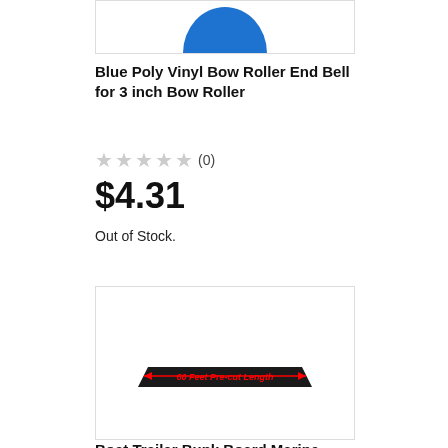[Figure (photo): Partial blue arc/circle visible at top of product image box — Blue Poly Vinyl Bow Roller End Bell]
Blue Poly Vinyl Bow Roller End Bell for 3 inch Bow Roller
★★★★★(0)
$4.31
Out of Stock.
[Figure (photo): Black elongated bunk board / carpet strip with red arrows and red text reading '60 Feet Pre-cut Length']
Boat Trailer Bunk Board Marine Carpet